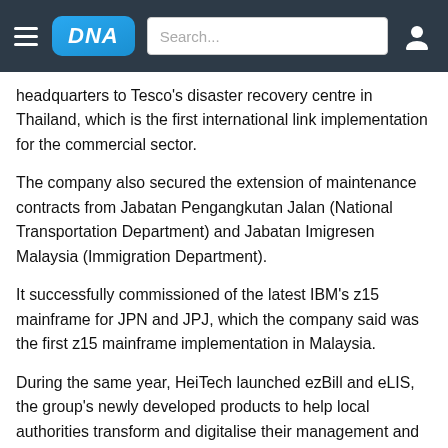DNA [navigation bar with search]
headquarters to Tesco's disaster recovery centre in Thailand, which is the first international link implementation for the commercial sector.
The company also secured the extension of maintenance contracts from Jabatan Pengangkutan Jalan (National Transportation Department) and Jabatan Imigresen Malaysia (Immigration Department).
It successfully commissioned of the latest IBM's z15 mainframe for JPN and JPJ, which the company said was the first z15 mainframe implementation in Malaysia.
During the same year, HeiTech launched ezBill and eLIS, the group's newly developed products to help local authorities transform and digitalise their management and service delivery to customers.